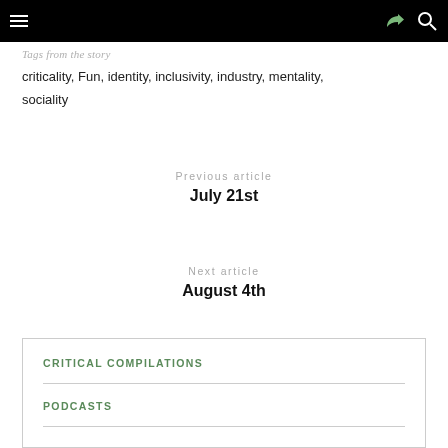Tags from the story
criticality, Fun, identity, inclusivity, industry, mentality, sociality
Previous article
July 21st
Next article
August 4th
CRITICAL COMPILATIONS
PODCASTS